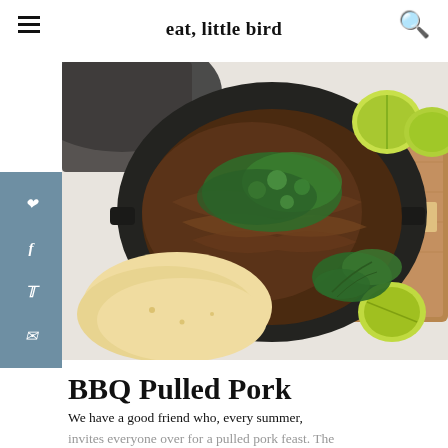eat, little bird
[Figure (photo): Overhead photo of BBQ pulled pork in a black cast iron pot, garnished with fresh cilantro, on a wooden cutting board with lime wedges and flatbreads nearby on a white surface.]
BBQ Pulled Pork
We have a good friend who, every summer, invites everyone over for a pulled pork feast. The pork is attentively prepared over several days